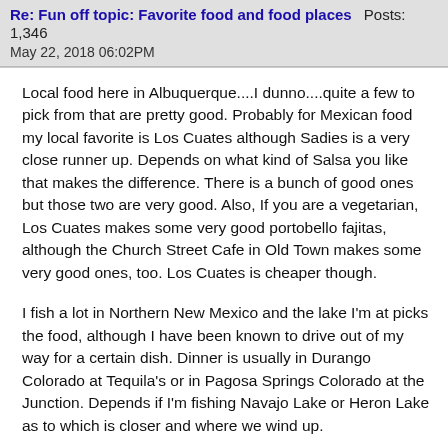Re: Fun off topic: Favorite food and food places  Posts: 1,346
May 22, 2018 06:02PM
Local food here in Albuquerque....I dunno....quite a few to pick from that are pretty good. Probably for Mexican food my local favorite is Los Cuates although Sadies is a very close runner up. Depends on what kind of Salsa you like that makes the difference. There is a bunch of good ones but those two are very good. Also, If you are a vegetarian, Los Cuates makes some very good portobello fajitas, although the Church Street Cafe in Old Town makes some very good ones, too. Los Cuates is cheaper though.
I fish a lot in Northern New Mexico and the lake I'm at picks the food, although I have been known to drive out of my way for a certain dish. Dinner is usually in Durango Colorado at Tequila's or in Pagosa Springs Colorado at the Junction. Depends if I'm fishing Navajo Lake or Heron Lake as to which is closer and where we wind up.
Tequila's in Durango has the best Chili Rellenos I've ever eaten, anywhere. They use Poblano Chili instead of the normal Anaheim Chili and they are super good. Super Good.
The Junction in Pagosa Springs for the Country Fried Steak.